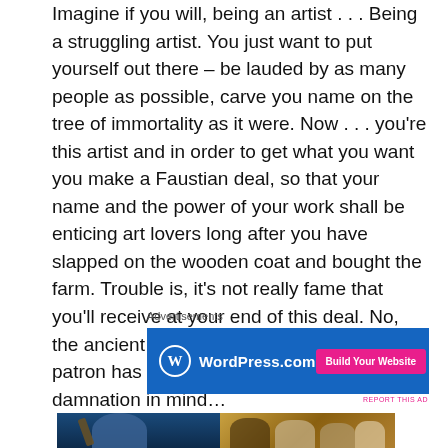Imagine if you will, being an artist . . . Being a struggling artist. You just want to put yourself out there – be lauded by as many people as possible, carve you name on the tree of immortality as it were. Now . . . you're this artist and in order to get what you want you make a Faustian deal, so that your name and the power of your work shall be enticing art lovers long after you have slapped on the wooden coat and bought the farm. Trouble is, it's not really fame that you'll receive at your end of this deal. No, the ancient evil that has served as your patron has a different kind of eternal damnation in mind…
Advertisements
[Figure (other): WordPress.com advertisement banner with blue background, WordPress logo on the left, and a pink 'Build Your Website' button on the right]
REPORT THIS AD
[Figure (photo): Two side-by-side photos at the bottom of the page: left shows a man with a guitar on a dark stage, right shows a group of people at what appears to be a social gathering]